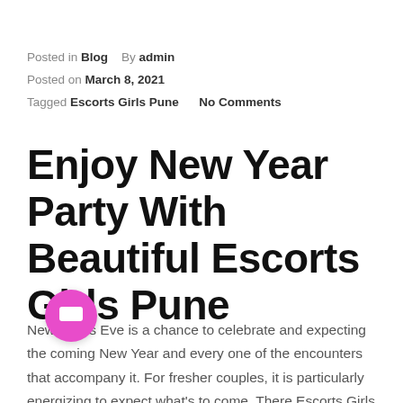Posted in Blog   By admin
Posted on March 8, 2021
Tagged Escorts Girls Pune    No Comments
Enjoy New Year Party With Beautiful Escorts Girls Pune
New Year's Eve is a chance to celebrate and expecting the coming New Year and every one of the encounters that accompany it. For fresher couples, it is particularly energizing to expect what's to come. There Escorts Girls Pune has a special relationship f…